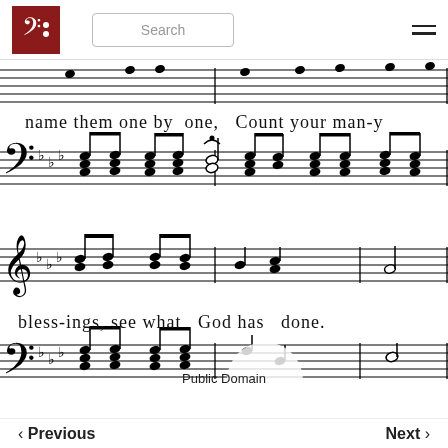Search
[Figure (illustration): Sheet music showing two staves: treble and bass in B-flat major. Top section shows melody notes with lyrics 'name them one by one, Count your many'. Bottom section shows notes with lyrics 'bless-ings, see what God has done.' Bass clef accompaniment shown below each treble staff. 'Public Domain' label shown near bottom.]
name them one by one,  Count your man-y
bless-ings, see what  God has  done.
Public Domain
Previous   Next